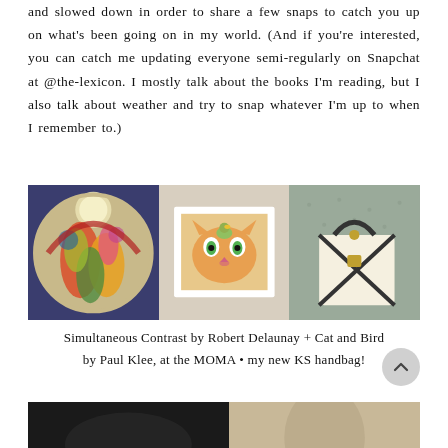and slowed down in order to share a few snaps to catch you up on what's been going on in my world. (And if you're interested, you can catch me updating everyone semi-regularly on Snapchat at @the-lexicon. I mostly talk about the books I'm reading, but I also talk about weather and try to snap whatever I'm up to when I remember to.)
[Figure (photo): Three-panel photo collage: left panel shows a circular painting 'Simultaneous Contrast' by Robert Delaunay with colorful abstract figures and a moon; center panel shows 'Cat and Bird' by Paul Klee in a white frame showing an orange cat face with green eyes; right panel shows a Kate Spade handbag resting on a gray surface.]
Simultaneous Contrast by Robert Delaunay + Cat and Bird by Paul Klee, at the MOMA • my new KS handbag!
[Figure (photo): Bottom partial two-panel photo collage, cut off at the bottom of the page.]